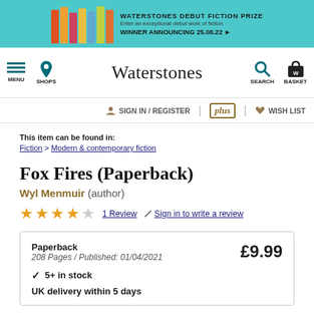[Figure (screenshot): Waterstones Debut Fiction Prize banner with colorful book spines and text: WINNER ANNOUNCING 25.08.22]
Waterstones — MENU, SHOPS, SEARCH, BASKET navigation bar
SIGN IN / REGISTER | plus | WISH LIST
This item can be found in:
Fiction > Modern & contemporary fiction
Fox Fires (Paperback)
Wyl Menmuir (author)
★★★★☆  1 Review  ✏ Sign in to write a review
| Paperback
208 Pages / Published: 01/04/2021 | £9.99 |
| ✓ 5+ in stock |  |
| UK delivery within 5 days |  |